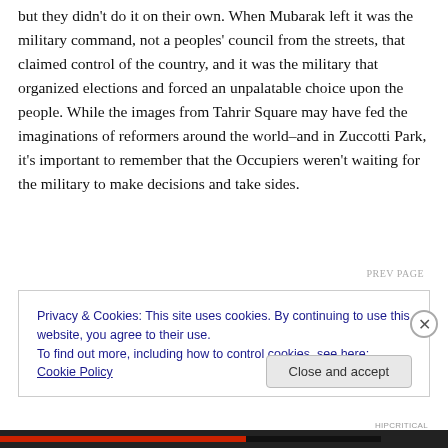but they didn't do it on their own.  When Mubarak left it was the military command, not a peoples' council from the streets, that claimed control of the country, and it was the military that organized elections and forced an unpalatable choice upon the people.  While the images from Tahrir Square may have fed the imaginations of reformers around the world–and in Zuccotti Park, it's important to remember that the Occupiers weren't waiting for the military to make decisions and take sides.
Privacy & Cookies: This site uses cookies. By continuing to use this website, you agree to their use.
To find out more, including how to control cookies, see here: Cookie Policy